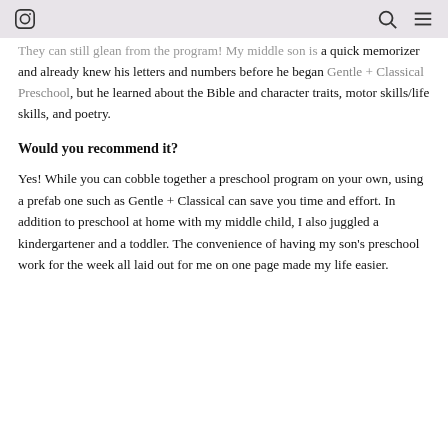[Instagram icon] [Search icon] [Menu icon]
They can still glean from the program! My middle son is a quick memorizer and already knew his letters and numbers before he began Gentle + Classical Preschool, but he learned about the Bible and character traits, motor skills/life skills, and poetry.
Would you recommend it?
Yes! While you can cobble together a preschool program on your own, using a prefab one such as Gentle + Classical can save you time and effort. In addition to preschool at home with my middle child, I also juggled a kindergartener and a toddler. The convenience of having my son's preschool work for the week all laid out for me on one page made my life easier.